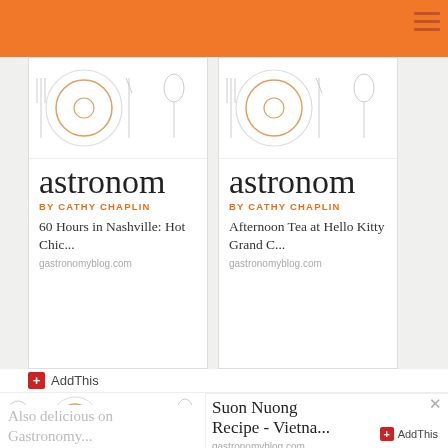[Figure (screenshot): Orange navigation bar with hamburger menu lines at top right]
[Figure (illustration): Blog card 1: Gastronomy blog by Cathy Chaplin - '60 Hours in Nashville: Hot Chic...' at gastronomyblog.com, with food illustration at top]
[Figure (illustration): Blog card 2: Gastronomy blog by Cathy Chaplin - 'Afternoon Tea at Hello Kitty Grand C...' at gastronomyblog.com, with food illustration at top]
AddThis
[Figure (illustration): Also delicious on Gastronomy... widget showing Gastronomy blog logo and Suon Nuong Recipe - Vietna... post at gastronomyblog.com with AddThis button]